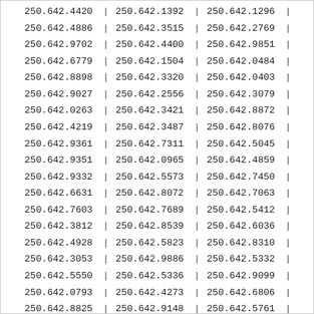| Col1 | Col2 | Col3 |
| --- | --- | --- |
| 250.642.4420 | 250.642.1392 | 250.642.1296 |
| 250.642.4886 | 250.642.3515 | 250.642.2769 |
| 250.642.9702 | 250.642.4400 | 250.642.9851 |
| 250.642.6779 | 250.642.1504 | 250.642.0484 |
| 250.642.8898 | 250.642.3320 | 250.642.0403 |
| 250.642.9027 | 250.642.2556 | 250.642.3079 |
| 250.642.0263 | 250.642.3421 | 250.642.8872 |
| 250.642.4219 | 250.642.3487 | 250.642.8076 |
| 250.642.9361 | 250.642.7311 | 250.642.5045 |
| 250.642.9351 | 250.642.0965 | 250.642.4859 |
| 250.642.9332 | 250.642.5573 | 250.642.7450 |
| 250.642.6631 | 250.642.8072 | 250.642.7063 |
| 250.642.7603 | 250.642.7689 | 250.642.5412 |
| 250.642.3812 | 250.642.8539 | 250.642.6036 |
| 250.642.4928 | 250.642.5823 | 250.642.8310 |
| 250.642.3053 | 250.642.9886 | 250.642.5332 |
| 250.642.5550 | 250.642.5336 | 250.642.9099 |
| 250.642.0793 | 250.642.4273 | 250.642.6806 |
| 250.642.8825 | 250.642.9148 | 250.642.5761 |